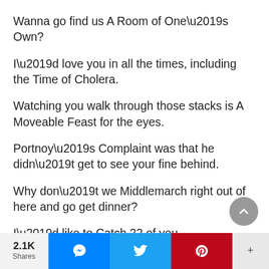Wanna go find us A Room of One’s Own?
I’d love you in all the times, including the Time of Cholera.
Watching you walk through those stacks is A Moveable Feast for the eyes.
Portnoy’s Complaint was that he didn’t get to see your fine behind.
Why don’t we Middlemarch right out of here and go get dinner?
I’d like to Catch 22 of you.
2.1K Shares | Messenger | Twitter | Pinterest | +